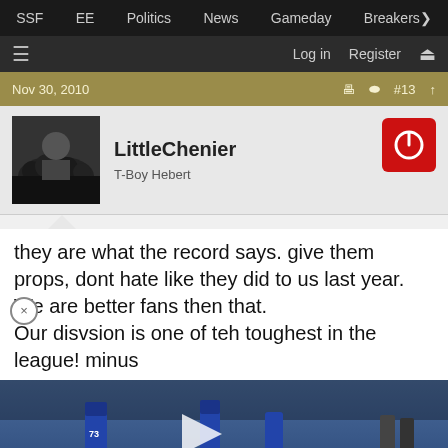SSF  EE  Politics  News  Gameday  Breakers
Log in  Register
Nov 30, 2010  #13
LittleChenier
T-Boy Hebert
they are what the record says. give them props, dont hate like they did to us last year. We are better fans then that. Our disvsion is one of teh toughest in the league! minus
[Figure (photo): Football players in blue uniforms (Buffalo Bills) running on field, video thumbnail with play button]
content, tailor your experience an
Women's Fashion | Shop Online | VENUS
Shop the best in women's fashion, clothing, swimwear
venus.com